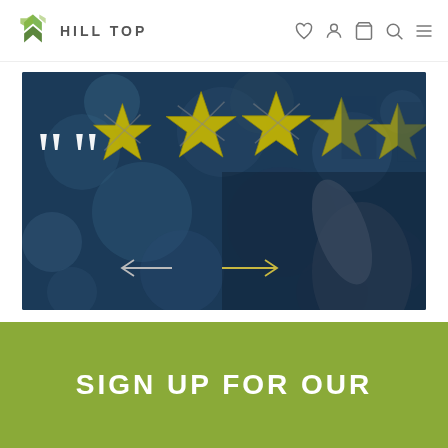HILL TOP — navigation header with logo and icons
[Figure (photo): Dark blue bokeh background with a hand drawing five gold/yellow stars, large white quotation marks on the left, and navigation arrows at the bottom]
SIGN UP FOR OUR